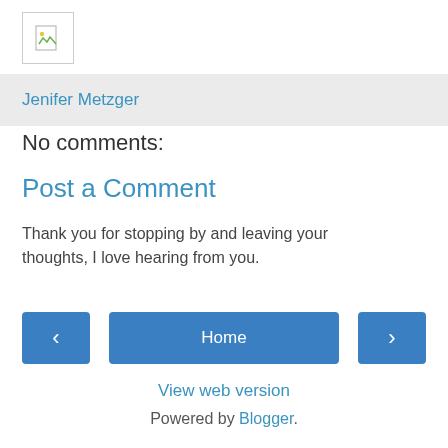[Figure (other): Broken image placeholder icon with document and image symbol]
Jenifer Metzger
No comments:
Post a Comment
Thank you for stopping by and leaving your thoughts, I love hearing from you.
< Home >
View web version
Powered by Blogger.